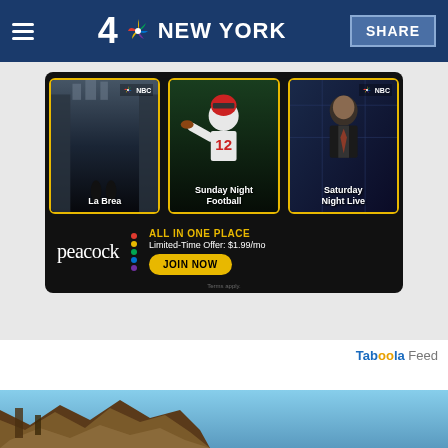NBC 4 NEW YORK — SHARE
[Figure (screenshot): Peacock streaming service advertisement showing three NBC shows: La Brea, Sunday Night Football, and Saturday Night Live. Text reads ALL IN ONE PLACE, Limited-Time Offer: $1.99/mo with JOIN NOW button. Terms apply.]
Taboola Feed
[Figure (photo): Photo of rubble or destroyed structure against a blue sky, partially visible at bottom of page]